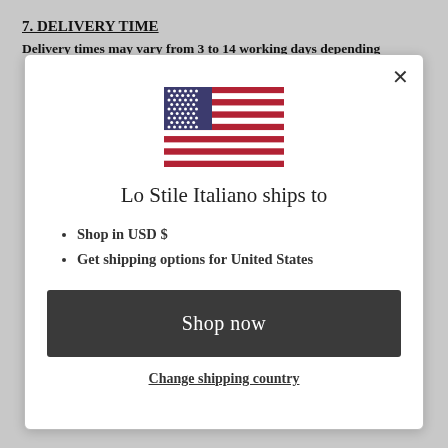7. DELIVERY TIME
Delivery times may vary from 3 to 14 working days depending
[Figure (screenshot): A modal popup dialog showing a US flag, text 'Lo Stile Italiano ships to', bullet points 'Shop in USD $' and 'Get shipping options for United States', a dark 'Shop now' button, and a 'Change shipping country' link. The modal has a close X button in the top right.]